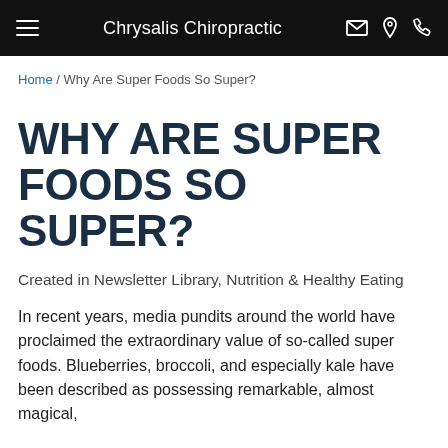Chrysalis Chiropractic
Home / Why Are Super Foods So Super?
WHY ARE SUPER FOODS SO SUPER?
Created in Newsletter Library, Nutrition & Healthy Eating
In recent years, media pundits around the world have proclaimed the extraordinary value of so-called super foods. Blueberries, broccoli, and especially kale have been described as possessing remarkable, almost magical,